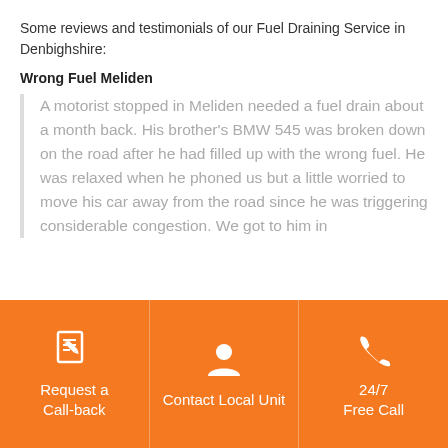Some reviews and testimonials of our Fuel Draining Service in Denbighshire:
Wrong Fuel Meliden
A motorist stopped in Meliden needed a fuel drain about a month back. His brother's BMW 545 was broken down on the road after he had filled up with the wrong fuel. He was relaxed when he phoned us but a little worried to move his car away from the road since he was triggering considerable congestion. We got to him in
[Figure (infographic): Orange footer bar with three sections: Request a Call-back (edit/form icon), Contact Local Unit (person icon), 24/7 Free Call (phone icon)]